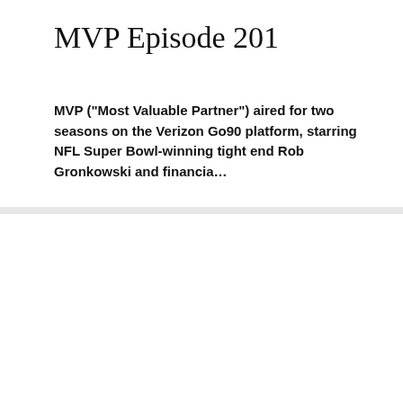MVP Episode 201
MVP (“Most Valuable Partner”) aired for two seasons on the Verizon Go90 platform, starring NFL Super Bowl-winning tight end Rob Gronkowski and financia…
[Figure (photo): MVP Most Valuable Partner show title card/logo on a dark teal tech-themed background. Large metallic 3D letters MVP with blue accent on the V, and text MOST VALUABLE PARTNER below.]
MVP EPISODE